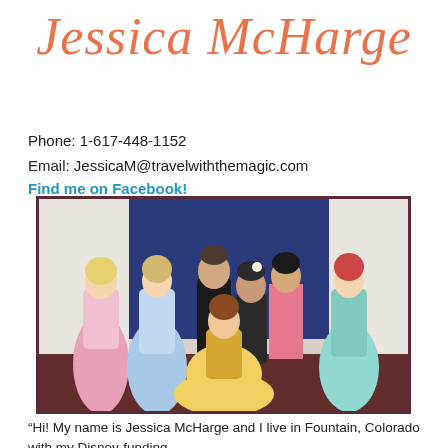Jessica McHarge
Phone: 1-617-448-1152
Email: JessicaM@travelwiththemagic.com
Find me on Facebook!
[Figure (photo): Group photo of Jessica McHarge with Disney princess costumed characters including Aurora, Cinderella, Mulan, Ariel, and Belle, plus two guests, posed in a decorative room.]
“Hi! My name is Jessica McHarge and I live in Fountain, Colorado with my Disney-funding